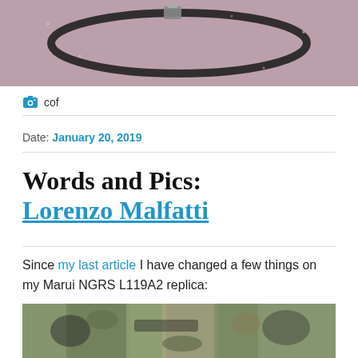[Figure (photo): Close-up photo of a strap/sling accessory on sandy/pink granular surface]
cof
Date: January 20, 2019
Words and Pics: Lorenzo Malfatti
Since my last article I have changed a few things on my Marui NGRS L119A2 replica:
[Figure (photo): Partial photo of airsoft rifle with camouflage equipment]